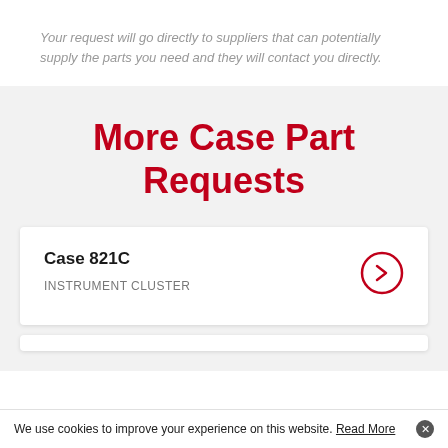Your request will go directly to suppliers that can potentially supply the parts you need and they will contact you directly.
More Case Part Requests
Case 821C
INSTRUMENT CLUSTER
We use cookies to improve your experience on this website. Read More ×